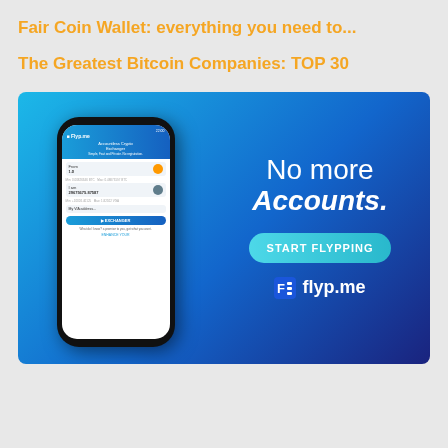Fair Coin Wallet: everything you need to...
The Greatest Bitcoin Companies: TOP 30
[Figure (screenshot): Advertisement for flyp.me — an accountless crypto exchanger app. Left side shows a smartphone mockup with the Flyp.me app interface open. Right side shows white text reading 'No more Accounts.' with a teal 'START FLYPPING' call-to-action button, and the flyp.me logo at the bottom. Background is a blue gradient.]